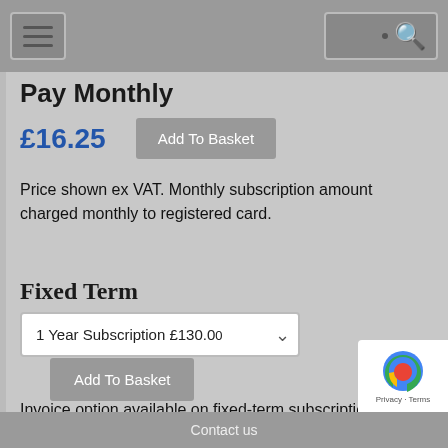Navigation bar with hamburger menu and search
Pay Monthly
£16.25
Price shown ex VAT. Monthly subscription amount charged monthly to registered card.
Fixed Term
1 Year Subscription £130.00
Invoice option available on fixed-term subscription. Subscriptions begin from
Contact us